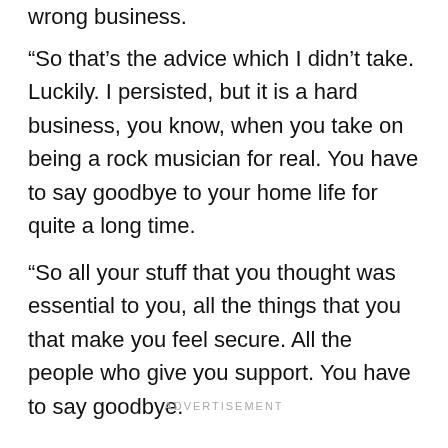wrong business.
“So that’s the advice which I didn’t take. Luckily. I persisted, but it is a hard business, you know, when you take on being a rock musician for real. You have to say goodbye to your home life for quite a long time.
“So all your stuff that you thought was essential to you, all the things that you that make you feel secure. All the people who give you support. You have to say goodbye.
ADVERTISEMENT